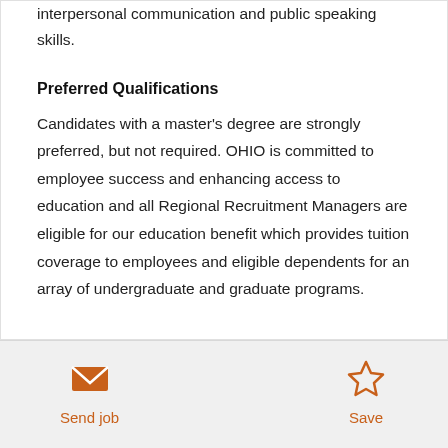interpersonal communication and public speaking skills.
Preferred Qualifications
Candidates with a master's degree are strongly preferred, but not required. OHIO is committed to employee success and enhancing access to education and all Regional Recruitment Managers are eligible for our education benefit which provides tuition coverage to employees and eligible dependents for an array of undergraduate and graduate programs.
[Figure (infographic): Send job button with envelope icon and Save button with star icon, both in orange color]
Send job
Save